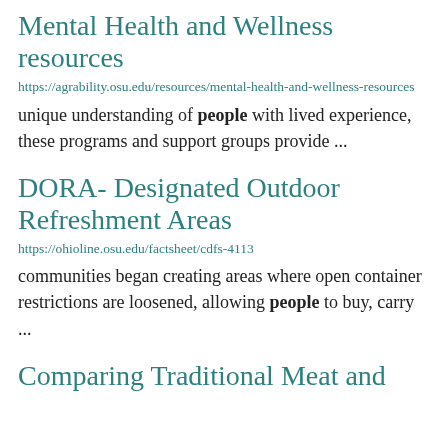Mental Health and Wellness resources
https://agrability.osu.edu/resources/mental-health-and-wellness-resources
unique understanding of people with lived experience, these programs and support groups provide ...
DORA- Designated Outdoor Refreshment Areas
https://ohioline.osu.edu/factsheet/cdfs-4113
communities began creating areas where open container restrictions are loosened, allowing people to buy, carry ...
Comparing Traditional Meat and